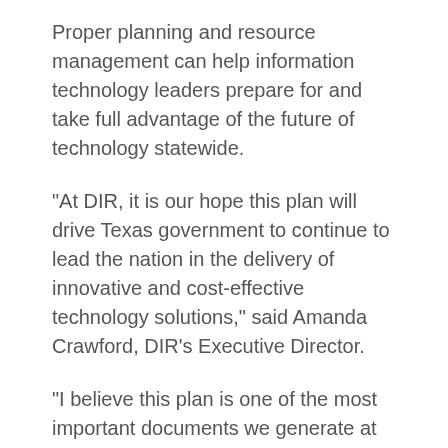Proper planning and resource management can help information technology leaders prepare for and take full advantage of the future of technology statewide.
"At DIR, it is our hope this plan will drive Texas government to continue to lead the nation in the delivery of innovative and cost-effective technology solutions," said Amanda Crawford, DIR's Executive Director.
"I believe this plan is one of the most important documents we generate at DIR because it provides a roadmap for transforming how Texas government serves Texans through technology."
The plan outlines the most extensive reforms for...